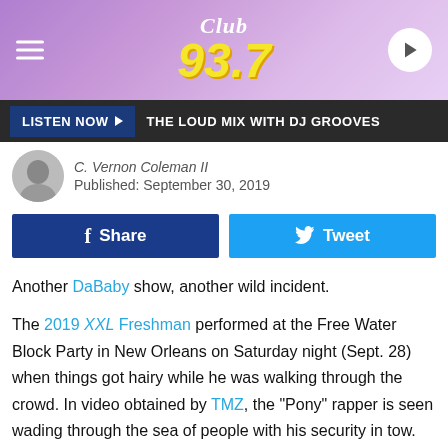[Figure (logo): Club 93.7 radio station website header with purple gradient background, hamburger menu icon on left, Club 93.7 logo in center, play button on right]
[Figure (infographic): Dark grey listen bar with 'LISTEN NOW' button and text 'THE LOUD MIX WITH DJ GROOVES']
C. Vernon Coleman II
Published: September 30, 2019
Share | Tweet (social share buttons)
Another DaBaby show, another wild incident.
The 2019 XXL Freshman performed at the Free Water Block Party in New Orleans on Saturday night (Sept. 28) when things got hairy while he was walking through the crowd. In video obtained by TMZ, the "Pony" rapper is seen wading through the sea of people with his security in tow. One woman runs up to the rapper and appears to grab at him. DaBaby appears annoyed and shrugs her off. His security